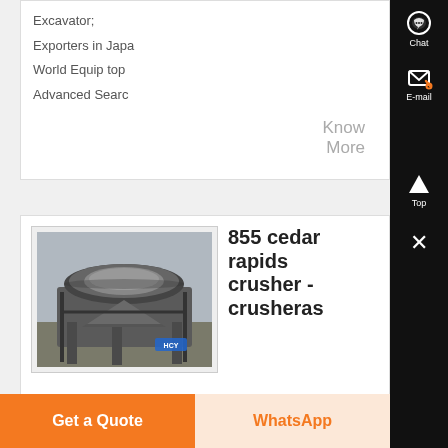Excavator, Exporters in Japan, World Equip top, Advanced Search
Know More
[Figure (screenshot): Partial screenshot of a website listing showing a crusher machine image and product info for '855 cedar rapids crusher - crusheras']
855 cedar rapids crusher - crusheras
855 Cedar Rapids Commander
Get a Quote
WhatsApp